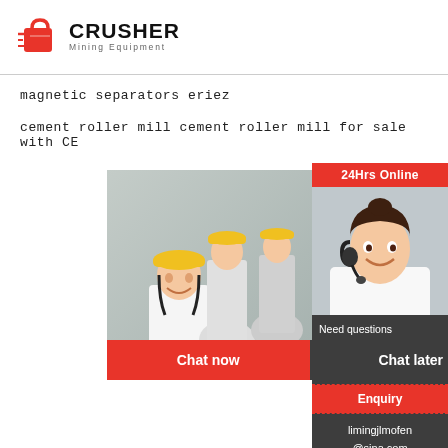[Figure (logo): Crusher Mining Equipment logo with red shopping bag icon and bold CRUSHER text]
magnetic separators eriez
cement roller mill cement roller mill for sale with CE
[Figure (infographic): Live chat widget showing workers in hard hats, LIVE CHAT heading, Click for a Free Consultation text, Chat now and Chat later buttons]
[Figure (infographic): Right sidebar panel showing 24Hrs Online, headset customer service person, Need questions & suggestion? Chat Now button, Enquiry section, limingjlmofen@sina.com email]